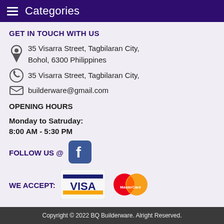Categories
GET IN TOUCH WITH US
35 Visarra Street, Tagbilaran City, Bohol, 6300 Philippines
35 Visarra Street, Tagbilaran City,
builderware@gmail.com
OPENING HOURS
Monday to Satruday:
8:00 AM - 5:30 PM
FOLLOW US @
[Figure (logo): Facebook logo icon, blue square with white f]
WE ACCEPT:
[Figure (logo): Visa credit card logo]
[Figure (logo): MasterCard credit card logo]
Copyright © 2022 BQ Builderware. Alright Reserved.